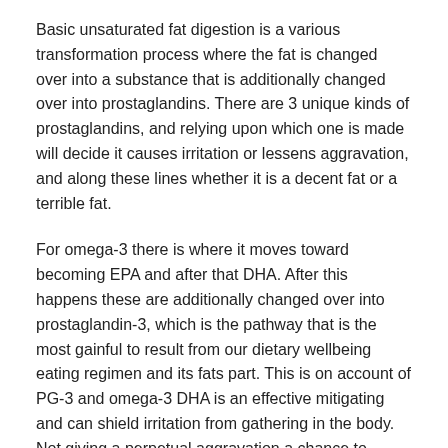Basic unsaturated fat digestion is a various transformation process where the fat is changed over into a substance that is additionally changed over into prostaglandins. There are 3 unique kinds of prostaglandins, and relying upon which one is made will decide it causes irritation or lessens aggravation, and along these lines whether it is a decent fat or a terrible fat.
For omega-3 there is where it moves toward becoming EPA and after that DHA. After this happens these are additionally changed over into prostaglandin-3, which is the pathway that is the most gainful to result from our dietary wellbeing eating regimen and its fats part. This is on account of PG-3 and omega-3 DHA is an effective mitigating and can shield irritation from gathering in the body. Not giving a perpetual aggravation a chance to condition happen is a critical part of long haul wellbeing and bringing down the hazard for some genuine medical issues or illnesses.